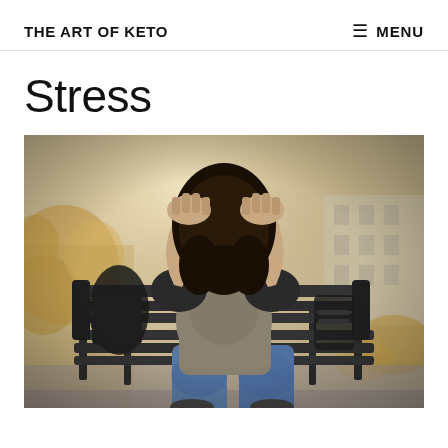THE ART OF KETO   ≡ MENU
Stress
[Figure (photo): Person sitting on a park bench with head in hands, appearing stressed. Person wearing jeans and a gray t-shirt, with dark hair, sitting outdoors on a dark wooden bench. Background shows a building and dried autumn foliage.]